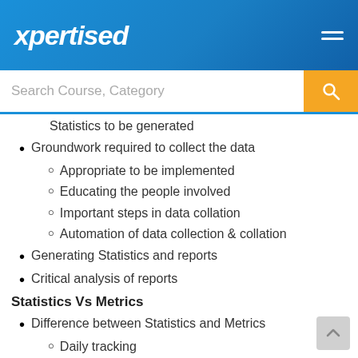xpertised
Statistics to be generated
Groundwork required to collect the data
Appropriate to be implemented
Educating the people involved
Important steps in data collation
Automation of data collection & collation
Generating Statistics and reports
Critical analysis of reports
Statistics Vs Metrics
Difference between Statistics and Metrics
Daily tracking
Management tracking
People involved - who should do what?
Who determines what data to be collected?
The person responsible to evaluate the